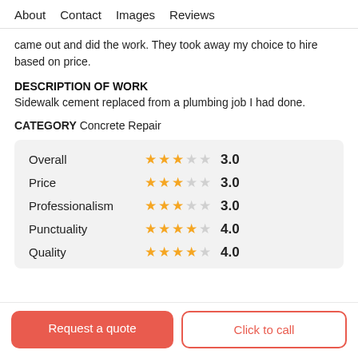About   Contact   Images   Reviews
came out and did the work. They took away my choice to hire based on price.
DESCRIPTION OF WORK
Sidewalk cement replaced from a plumbing job I had done.
CATEGORY Concrete Repair
| Category | Stars | Rating |
| --- | --- | --- |
| Overall | 3 stars | 3.0 |
| Price | 3 stars | 3.0 |
| Professionalism | 3 stars | 3.0 |
| Punctuality | 4 stars | 4.0 |
| Quality | 4 stars | 4.0 |
Request a quote
Click to call